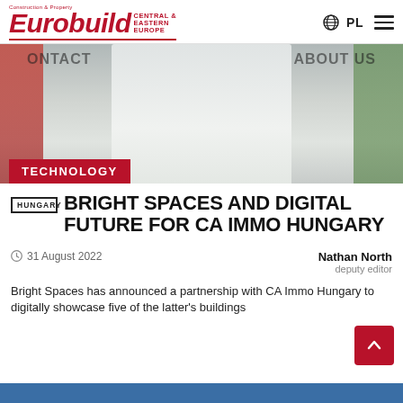Eurobuild Central & Eastern Europe | Construction & Property | PL
[Figure (photo): Hero image of a person in a white shirt, partially visible, with navigation text 'CONTACT' and 'ABOUT US' visible at top. A red 'TECHNOLOGY' badge is overlaid at the bottom left.]
HUNGARY BRIGHT SPACES AND DIGITAL FUTURE FOR CA IMMO HUNGARY
31 August 2022
Nathan North
deputy editor
Bright Spaces has announced a partnership with CA Immo Hungary to digitally showcase five of the latter's buildings